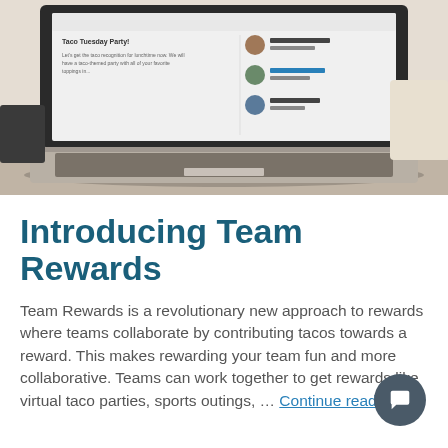[Figure (screenshot): Laptop computer showing a web application screen with a 'Taco Tuesday Party!' post and user avatars on the right side, sitting on a wooden desk background.]
Introducing Team Rewards
Team Rewards is a revolutionary new approach to rewards where teams collaborate by contributing tacos towards a reward. This makes rewarding your team fun and more collaborative. Teams can work together to get rewards like virtual taco parties, sports outings, … Continue reading →